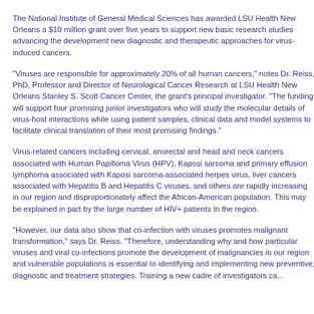The National Institute of General Medical Sciences has awarded LSU Health New Orleans a $10 million grant over five years to support new basic research studies advancing the development new diagnostic and therapeutic approaches for virus-induced cancers.
"Viruses are responsible for approximately 20% of all human cancers," notes Dr. Reiss, PhD, Professor and Director of Neurological Cancer Research at LSU Health New Orleans Stanley S. Scott Cancer Center, the grant's principal investigator. "The funding will support four promising junior investigators who will study the molecular details of virus-host interactions while using patient samples, clinical data and model systems to facilitate clinical translation of their most promising findings."
Virus-related cancers including cervical, anorectal and head and neck cancers associated with Human Papilloma Virus (HPV), Kaposi sarcoma and primary effusion lymphoma associated with Kaposi sarcoma-associated herpes virus, liver cancers associated with Hepatitis B and Hepatitis C viruses, and others are rapidly increasing in our region and disproportionately affect the African-American population. This may be explained in part by the large number of HIV+ patients in the region.
"However, our data also show that co-infection with viruses promotes malignant transformation," says Dr. Reiss. "Therefore, understanding why and how particular viruses and viral co-infections promote the development of malignancies in our region and vulnerable populations is essential to identifying and implementing new preventive, diagnostic and treatment strategies. Training a new cadre of investigators ca...